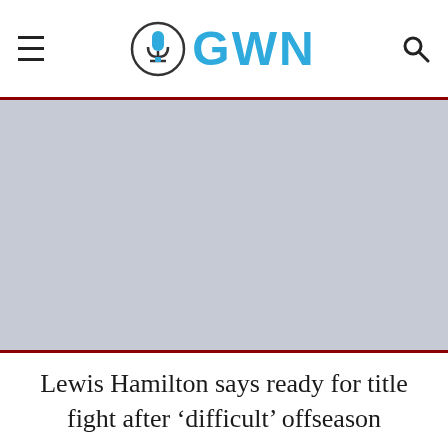GWN
[Figure (photo): Large image placeholder area with light blue-grey background, appears to be a news article hero image area]
Lewis Hamilton says ready for title fight after ‘difficult’ offseason